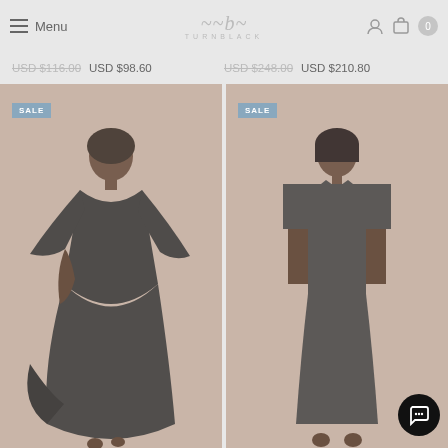Menu | TurnBlack | (icons)
USD $116.00  USD $98.60  |  USD $248.00  USD $210.80
[Figure (photo): SALE badge on product photo: woman in dark flowy V-neck midi dress, beige background]
[Figure (photo): SALE badge on product photo: woman in dark collared short-sleeve shirt dress, beige background, chat button bottom right]